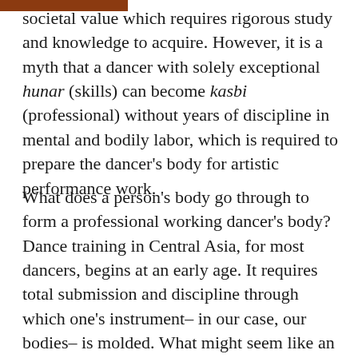societal value which requires rigorous study and knowledge to acquire. However, it is a myth that a dancer with solely exceptional hunar (skills) can become kasbi (professional) without years of discipline in mental and bodily labor, which is required to prepare the dancer's body for artistic performance work.
What does a person's body go through to form a professional working dancer's body? Dance training in Central Asia, for most dancers, begins at an early age. It requires total submission and discipline through which one's instrument– in our case, our bodies– is molded. What might seem like an unnecessarily tedious and lengthy preparation, is a necessary labor for the dancer.